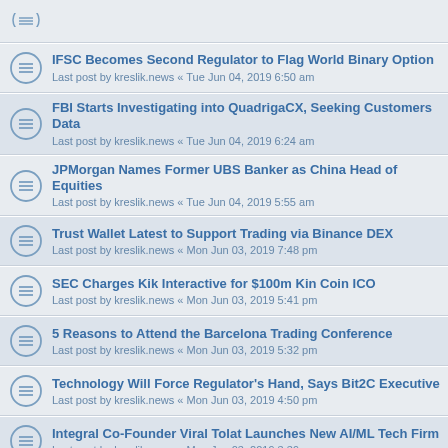IFSC Becomes Second Regulator to Flag World Binary Option — Last post by kreslik.news « Tue Jun 04, 2019 6:50 am
FBI Starts Investigating into QuadrigaCX, Seeking Customers Data — Last post by kreslik.news « Tue Jun 04, 2019 6:24 am
JPMorgan Names Former UBS Banker as China Head of Equities — Last post by kreslik.news « Tue Jun 04, 2019 5:55 am
Trust Wallet Latest to Support Trading via Binance DEX — Last post by kreslik.news « Mon Jun 03, 2019 7:48 pm
SEC Charges Kik Interactive for $100m Kin Coin ICO — Last post by kreslik.news « Mon Jun 03, 2019 5:41 pm
5 Reasons to Attend the Barcelona Trading Conference — Last post by kreslik.news « Mon Jun 03, 2019 5:32 pm
Technology Will Force Regulator's Hand, Says Bit2C Executive — Last post by kreslik.news « Mon Jun 03, 2019 4:50 pm
Integral Co-Founder Viral Tolat Launches New AI/ML Tech Firm — Last post by kreslik.news « Mon Jun 03, 2019 3:39 pm
'No Digital Shekel Anytime Soon,' Says Bank of Israel Exec — Last post by kreslik.news « Mon Jun 03, 2019 1:32 pm
JFD Opens Madrid Office, Adds Ignacio Albizuri Delclaux as MD — Last post by kreslik.news « Mon Jun 03, 2019 1:18 pm